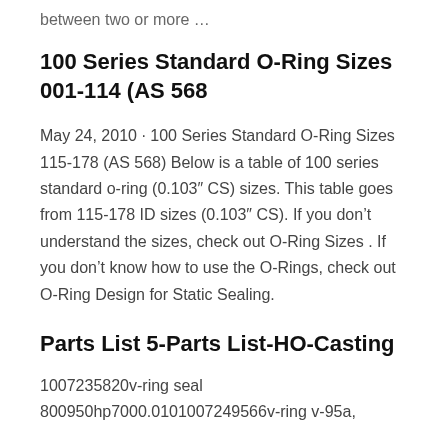between two or more …
100 Series Standard O-Ring Sizes 001-114 (AS 568
May 24, 2010 · 100 Series Standard O-Ring Sizes 115-178 (AS 568) Below is a table of 100 series standard o-ring (0.103″ CS) sizes. This table goes from 115-178 ID sizes (0.103″ CS). If you don't understand the sizes, check out O-Ring Sizes . If you don't know how to use the O-Rings, check out O-Ring Design for Static Sealing.
Parts List 5-Parts List-HO-Casting
1007235820v-ring seal 800950hp7000.0101007249566v-ring v-95a,